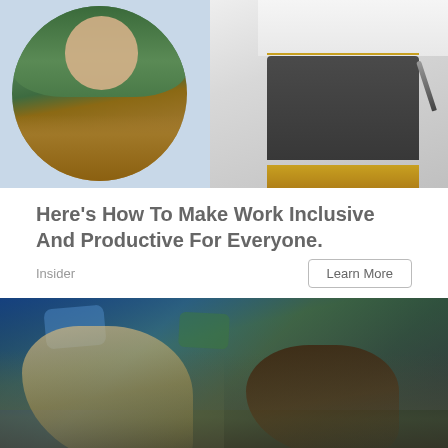[Figure (photo): Top portion showing two photos side by side: left is a circle-cropped image of a woman in a green top with a brown bag, right is a waiter/server in an apron holding a pen and notepad, on a light blue background]
Here's How To Make Work Inclusive And Productive For Everyone.
Insider
Learn More
[Figure (photo): Two young women sitting against a graffiti-painted wall. The woman on the left has long blonde hair and holds an ice cream cone near her eye; the woman on the right has curly dark hair and is eating an ice cream cone. Both wear casual jackets.]